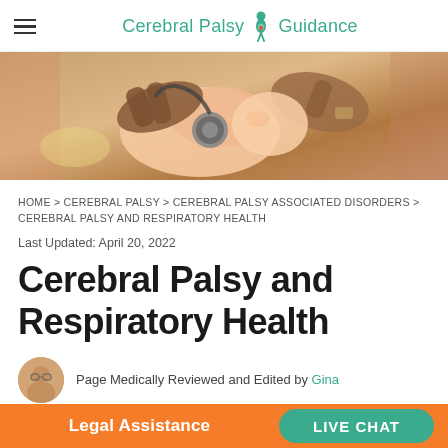Cerebral Palsy Guidance
[Figure (photo): Close-up photo of hands using a stethoscope on a newborn baby]
HOME > CEREBRAL PALSY > CEREBRAL PALSY ASSOCIATED DISORDERS > CEREBRAL PALSY AND RESPIRATORY HEALTH
Last Updated: April 20, 2022
Cerebral Palsy and Respiratory Health
Page Medically Reviewed and Edited by Gina
Legal Assistance  LIVE CHAT